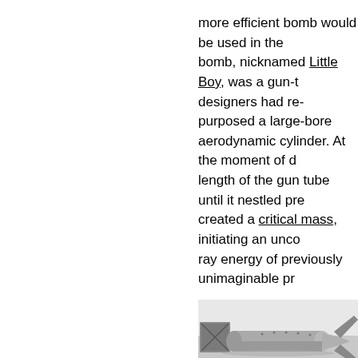more efficient bomb would be used in the bomb, nicknamed Little Boy, was a gun-t designers had re-purposed a large-bore aerodynamic cylinder. At the moment of length of the gun tube until it nestled pre created a critical mass, initiating an unco ray energy of previously unimaginable pr
[Figure (photo): Black and white photograph of the Little Boy atomic bomb casing, showing the tail fin assembly and cylindrical body, displayed on a surface.]